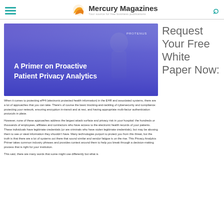Mercury Magazines — Your source for free business publications
[Figure (illustration): White paper cover image showing purple/blue overlay with medical professional silhouette. Title reads 'A Primer on Proactive Patient Privacy Analytics' with PROTENUS branding.]
Request Your Free White Paper Now:
When it comes to protecting ePHI (electronic protected health information) in the EHR and associated systems, there are a lot of approaches that you can take. There's of course the basic blocking-and-tackling of cybersecurity and compliance: protecting your network, ensuring encryption in-transit and at rest, and having appropriate multi-factor authentication protocols in place.
However, none of these approaches address the largest attack surface and privacy risk in your hospital: the hundreds or thousands of employees, affiliates and contractors who have access to the electronic health records of your patients. These individuals have legitimate credentials (or are criminals who have stolen legitimate credentials), but may be abusing them to see or steal information they shouldn't have. Many technologies purport to protect you from this threat, but the truth is that there are a lot of systems out there that sound similar and vendor fatigue is on the rise. This Privacy Analytics Primer takes common industry phrases and provides context around them to help you break through a decision-making process that is right for your institution.
This said, there are many words that some might use differently but what is